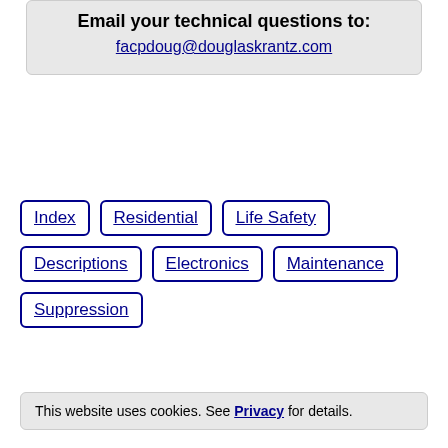Email your technical questions to:
facpdoug@douglaskrantz.com
Index
Residential
Life Safety
Descriptions
Electronics
Maintenance
Suppression
This website uses cookies. See Privacy for details.